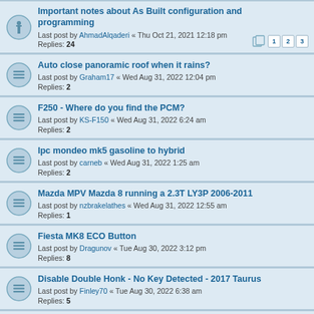Important notes about As Built configuration and programming
Last post by AhmadAlqaderi « Thu Oct 21, 2021 12:18 pm
Replies: 24
Auto close panoramic roof when it rains?
Last post by Graham17 « Wed Aug 31, 2022 12:04 pm
Replies: 2
F250 - Where do you find the PCM?
Last post by KS-F150 « Wed Aug 31, 2022 6:24 am
Replies: 2
Ipc mondeo mk5 gasoline to hybrid
Last post by carneb « Wed Aug 31, 2022 1:25 am
Replies: 2
Mazda MPV Mazda 8 running a 2.3T LY3P 2006-2011
Last post by nzbrakelathes « Wed Aug 31, 2022 12:55 am
Replies: 1
Fiesta MK8 ECO Button
Last post by Dragunov « Tue Aug 30, 2022 3:12 pm
Replies: 8
Disable Double Honk - No Key Detected - 2017 Taurus
Last post by Finley70 « Tue Aug 30, 2022 6:38 am
Replies: 5
Ford Fiesta MK8 options
Last post by D6VEB « Tue Aug 30, 2022 6:26 am
Replies: 30
How do I delete an admin key?